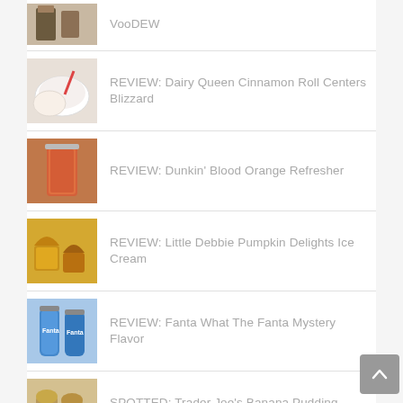VooDEW
REVIEW: Dairy Queen Cinnamon Roll Centers Blizzard
REVIEW: Dunkin' Blood Orange Refresher
REVIEW: Little Debbie Pumpkin Delights Ice Cream
REVIEW: Fanta What The Fanta Mystery Flavor
SPOTTED: Trader Joe's Banana Pudding Flavored Ice Cream
SPOTTED: Little Debbie Pumpkin Delights Ice Cream
REVIEW: Starbucks Apple Crisp Oatmilk Macchiato